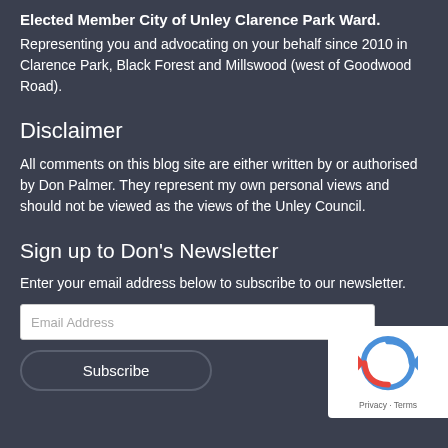Elected Member City of Unley Clarence Park Ward.
Representing you and advocating on your behalf since 2010 in Clarence Park, Black Forest and Millswood (west of Goodwood Road).
Disclaimer
All comments on this blog site are either written by or authorised by Don Palmer. They represent my own personal views and should not be viewed as the views of the Unley Council.
Sign up to Don's Newsletter
Enter your email address below to subscribe to our newsletter.
[Figure (other): Email address input field with placeholder text 'Email Address']
[Figure (other): Subscribe button]
[Figure (other): reCAPTCHA privacy badge with logo, Privacy and Terms links]